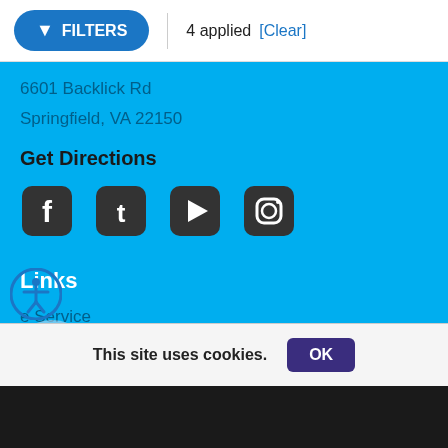FILTERS | 4 applied [Clear]
6601 Backlick Rd
Springfield, VA 22150
Get Directions
[Figure (infographic): Social media icons row: Facebook, Twitter, YouTube, Instagram]
Links
e Service
ur Trade
Get Approved
Recalls
This site uses cookies.
OK